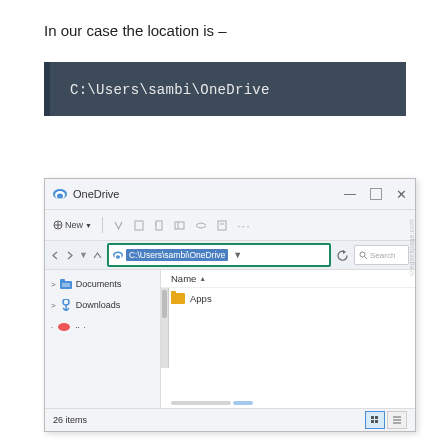In our case the location is –
C:\Users\sambi\OneDrive
[Figure (screenshot): Windows File Explorer window showing OneDrive folder with address bar displaying C:\Users\sambi\OneDrive highlighted in green border. Sidebar shows Documents and Downloads. Main pane shows Apps folder. Status bar shows 26 items.]